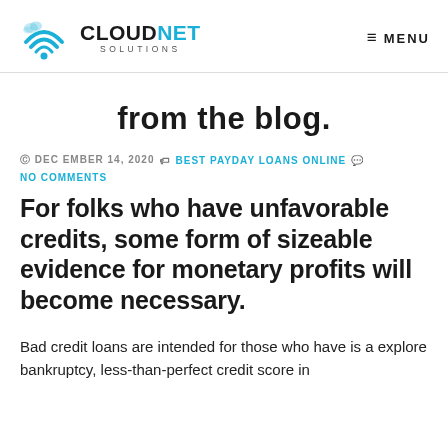CLOUDNET SOLUTIONS  MENU
from the blog.
© DECEMBER 14, 2020  BEST PAYDAY LOANS ONLINE  NO COMMENTS
For folks who have unfavorable credits, some form of sizeable evidence for monetary profits will become necessary.
Bad credit loans are intended for those who have is a explore bankruptcy, less-than-perfect credit score in